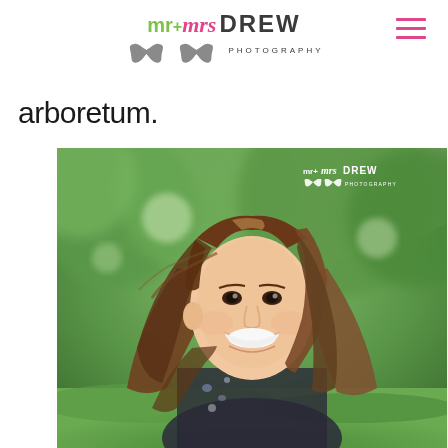[Figure (logo): Mr + Mrs Drew Photography logo with mustache icons and green/pink/dark text, plus hamburger menu icon in pink on the right]
arboretum.
[Figure (photo): Outdoor portrait photo of a young woman with long brown hair smiling, wearing a floral top, photographed in a green park/garden setting (arboretum). Mr + Mrs Drew Photography watermark in top right corner of photo.]